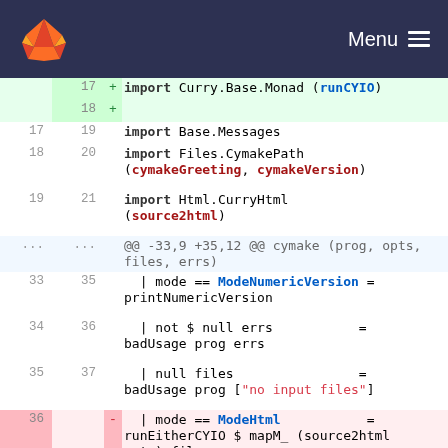GitLab — Menu
[Figure (screenshot): Code diff view showing Haskell/Curry source changes with line numbers, added lines (green) and deleted lines (red), on a dark navy header with GitLab fox logo and Menu button.]